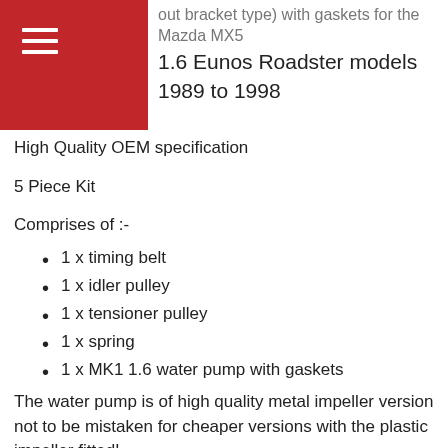out bracket type) with gaskets for the Mazda MX5 1.6 Eunos Roadster models 1989 to 1998
High Quality OEM specification
5 Piece Kit
Comprises of :-
1 x timing belt
1 x idler pulley
1 x tensioner pulley
1 x spring
1 x MK1 1.6 water pump with gaskets
The water pump is of high quality metal impeller version not to be mistaken for cheaper versions with the plastic impeller fitted!
The picture shows just two gaskets for the water pump but there is an ‘o’ ring included as well